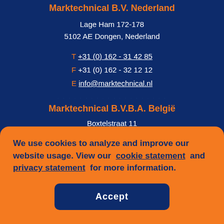Marktechnical B.V. Nederland
Lage Ham 172-178
5102 AE Dongen, Nederland
T +31 (0) 162 - 31 42 85
F +31 (0) 162 - 32 12 12
E info@marktechnical.nl
Marktechnical B.V.B.A. België
Boxtelstraat 11
We use cookies to analyze and improve our website usage. View our cookie statement and privacy statement for more information.
Accept